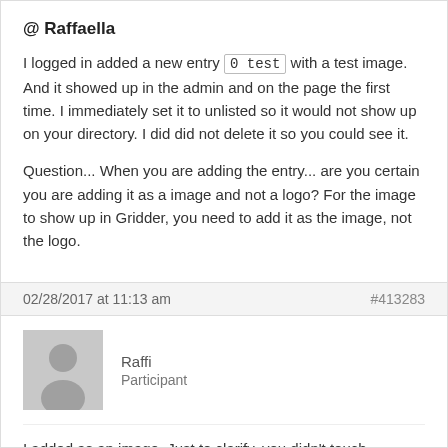@ Raffaella
I logged in added a new entry 0 test with a test image. And it showed up in the admin and on the page the first time. I immediately set it to unlisted so it would not show up on your directory. I did did not delete it so you could see it.

Question... When you are adding the entry... are you certain you are adding it as a image and not a logo? For the image to show up in Gridder, you need to add it as the image, not the logo.
02/28/2017 at 11:13 am
#413283
Raffi
Participant
I added as an image. Just to clarify, you didn't touch anything else, right? all the fonts on our page are off now for some reason...